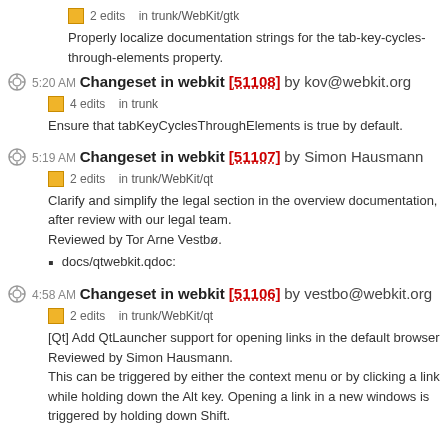2 edits   in trunk/WebKit/gtk
Properly localize documentation strings for the tab-key-cycles-through-elements property.
5:20 AM Changeset in webkit [51108] by kov@webkit.org
4 edits   in trunk
Ensure that tabKeyCyclesThroughElements is true by default.
5:19 AM Changeset in webkit [51107] by Simon Hausmann
2 edits   in trunk/WebKit/qt
Clarify and simplify the legal section in the overview documentation, after review with our legal team.
Reviewed by Tor Arne Vestbø.
docs/qtwebkit.qdoc:
4:58 AM Changeset in webkit [51106] by vestbo@webkit.org
2 edits   in trunk/WebKit/qt
[Qt] Add QtLauncher support for opening links in the default browser
Reviewed by Simon Hausmann.
This can be triggered by either the context menu or by clicking a link while holding down the Alt key. Opening a link in a new windows is triggered by holding down Shift.